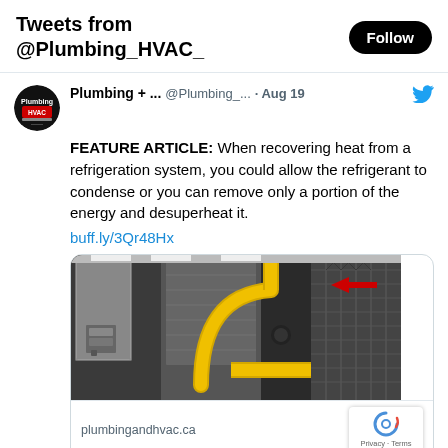Tweets from @Plumbing_HVAC_
Plumbing + ... @Plumbing_... · Aug 19 — FEATURE ARTICLE: When recovering heat from a refrigeration system, you could allow the refrigerant to condense or you can remove only a portion of the energy and desuperheat it.
buff.ly/3Qr48Hx
[Figure (photo): Industrial HVAC/refrigeration system with yellow insulated pipes and mechanical equipment. A red arrow points to a component on the upper right.]
plumbingandhvac.ca